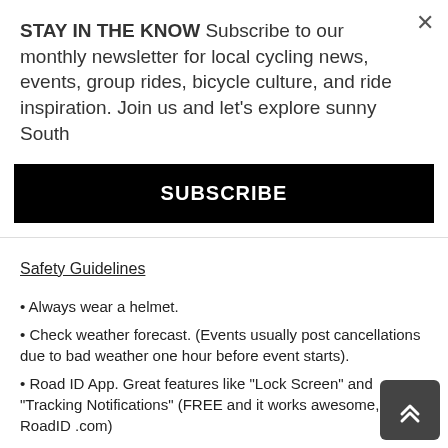STAY IN THE KNOW Subscribe to our monthly newsletter for local cycling news, events, group rides, bicycle culture, and ride inspiration. Join us and let's explore sunny South
SUBSCRIBE
Small/Basic First-Aid Pack
Safety Guidelines
Always wear a helmet.
Check weather forecast. (Events usually post cancellations due to bad weather one hour before event starts).
Road ID App. Great features like "Lock Screen" and "Tracking Notifications" (FREE and it works awesome, RoadID .com)
Have your bicycle inspected for your own safety and the safety of others riding with you.
Say "NO to Flats" by checking the condition "wear&tear" of your tires and making sure they are properly inflated.